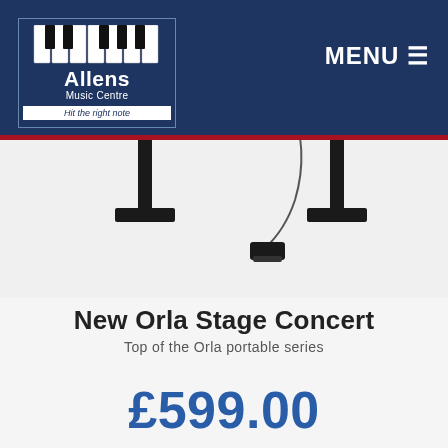Allens Music Centre — Hit the right note | MENU
[Figure (photo): Stage piano (Orla Stage Concert) on stand with sustain pedal, photographed against white background. Black instrument with slim keyboard body on two black legs with wide feet.]
New Orla Stage Concert
Top of the Orla portable series
£599.00